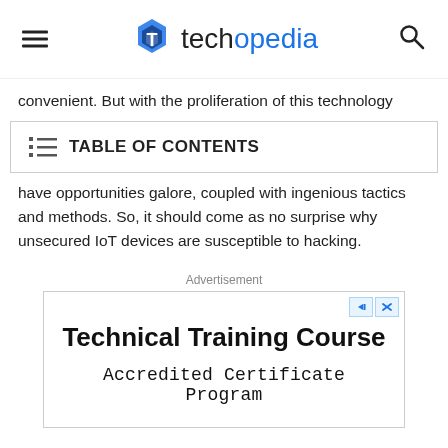techopedia
convenient. But with the proliferation of this technology
TABLE OF CONTENTS
have opportunities galore, coupled with ingenious tactics and methods. So, it should come as no surprise why unsecured IoT devices are susceptible to hacking.
Advertisement
[Figure (other): Advertisement box for Technical Training Course - Accredited Certificate Program]